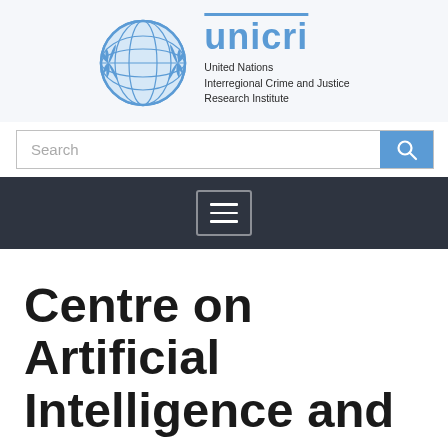[Figure (logo): UNICRI logo: United Nations globe emblem on the left, 'unicri' in large blue bold text on the right, with full name 'United Nations Interregional Crime and Justice Research Institute' below]
Search
[Figure (screenshot): Dark navigation bar with a hamburger menu icon (three horizontal lines in a rounded rectangle)]
Centre on Artificial Intelligence and